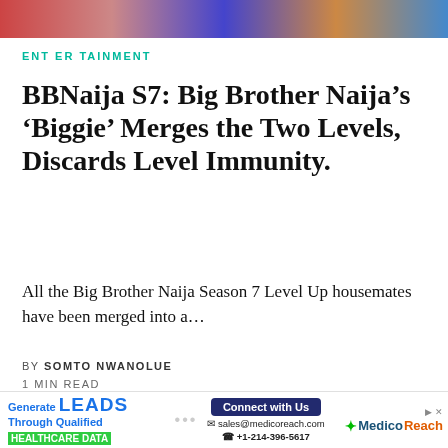[Figure (photo): Colorful top image strip showing people]
ENTERTAINMENT
BBNaija S7: Big Brother Naija's 'Biggie' Merges the Two Levels, Discards Level Immunity.
All the Big Brother Naija Season 7 Level Up housemates have been merged into a...
BY SOMTO NWANOLUE
1 MIN READ
Our website uses cookies to to ensure you get the best experience on our website. You can check out our Cookies Policy.
[Figure (infographic): MedicoReach advertisement banner at bottom]